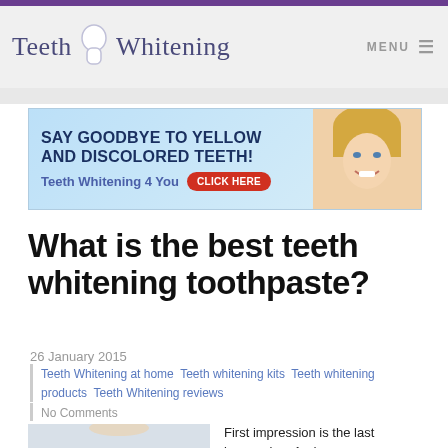Teeth Whitening
[Figure (infographic): Advertisement banner: SAY GOODBYE TO YELLOW AND DISCOLORED TEETH! Teeth Whitening 4 You CLICK HERE, with photo of smiling blonde woman]
What is the best teeth whitening toothpaste?
26 January 2015
Teeth Whitening at home Teeth whitening kits Teeth whitening products Teeth Whitening reviews
No Comments
First impression is the last impression. And